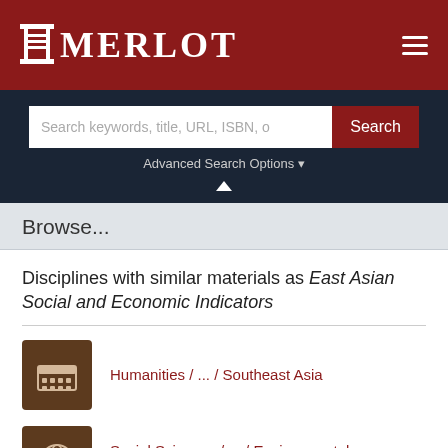MERLOT
Search keywords, title, URL, ISBN, o
Advanced Search Options
Browse...
Disciplines with similar materials as East Asian Social and Economic Indicators
Humanities / ... / Southeast Asia
Social Sciences / ... / Environmental Development